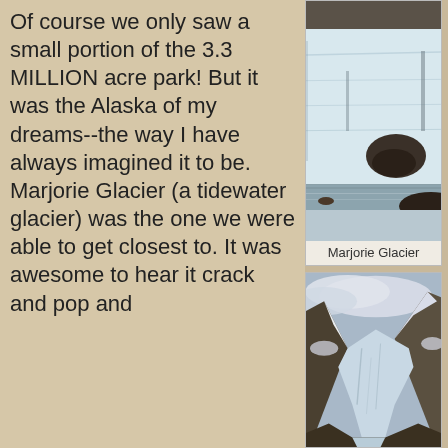Of course we only saw a small portion of the 3.3 MILLION acre park!  But it was the Alaska of my dreams--the way I have always imagined it to be. Marjorie Glacier (a tidewater glacier) was the one we were able to get closest to.  It was awesome to hear it crack and pop and
[Figure (photo): Close-up photograph of Marjorie Glacier showing a massive wall of blue-white ice meeting gray water, with dark rocky debris]
Marjorie Glacier
[Figure (photo): Wide-angle photograph of a glaciated mountain valley with snow-capped peaks, clouds, and a glacier flowing between mountains]